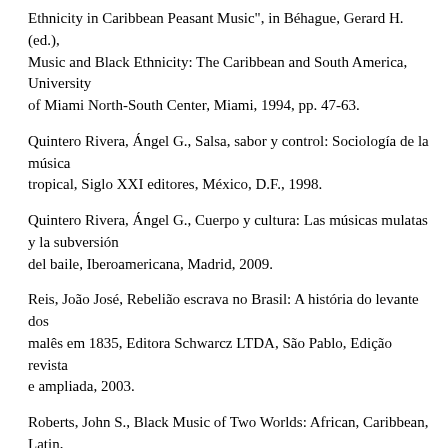Ethnicity in Caribbean Peasant Music", in Béhague, Gerard H. (ed.), Music and Black Ethnicity: The Caribbean and South America, University of Miami North-South Center, Miami, 1994, pp. 47-63.
Quintero Rivera, Ángel G., Salsa, sabor y control: Sociología de la música tropical, Siglo XXI editores, México, D.F., 1998.
Quintero Rivera, Ángel G., Cuerpo y cultura: Las músicas mulatas y la subversión del baile, Iberoamericana, Madrid, 2009.
Reis, João José, Rebelião escrava no Brasil: A história do levante dos malês em 1835, Editora Schwarcz LTDA, São Pablo, Edição revista e ampliada, 2003.
Roberts, John S., Black Music of Two Worlds: African, Caribbean, Latin, and African-American traditions, New York, Schirmer Books